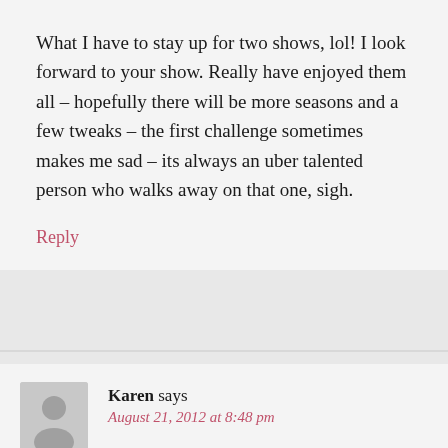What I have to stay up for two shows, lol! I look forward to your show. Really have enjoyed them all – hopefully there will be more seasons and a few tweaks – the first challenge sometimes makes me sad – its always an uber talented person who walks away on that one, sigh.
Reply
Karen says
August 21, 2012 at 8:48 pm